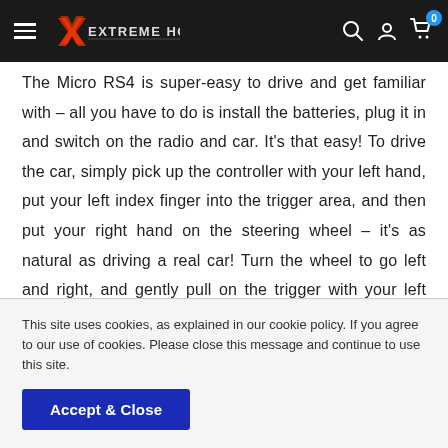Extreme Hobbies — navigation header
The Micro RS4 is super-easy to drive and get familiar with – all you have to do is install the batteries, plug it in and switch on the radio and car. It's that easy! To drive the car, simply pick up the controller with your left hand, put your left index finger into the trigger area, and then put your right hand on the steering wheel – it's as natural as driving a real car! Turn the wheel to go left and right, and gently pull on the trigger with your left index finger to go forwards. To stop the car, gently push away
This site uses cookies, as explained in our cookie policy. If you agree to our use of cookies. Please close this message and continue to use this site.
Accept & Close